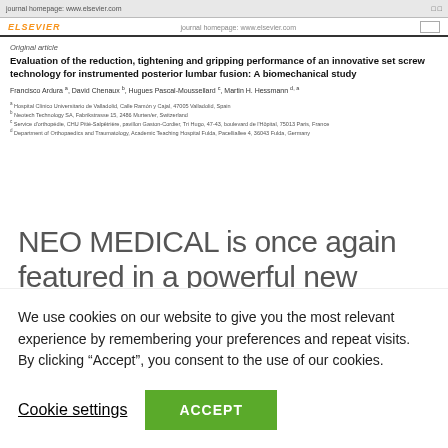[Figure (screenshot): Screenshot of an Elsevier journal article page showing article title, authors, and affiliations for a paper about set screw technology for lumbar fusion.]
NEO MEDICAL is once again featured in a powerful new publication, showing Neo's
We use cookies on our website to give you the most relevant experience by remembering your preferences and repeat visits. By clicking “Accept”, you consent to the use of our cookies.
Cookie settings
ACCEPT